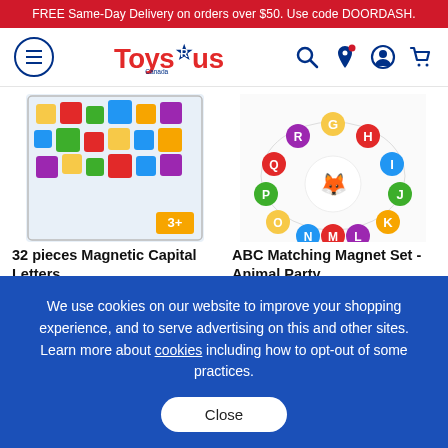FREE Same-Day Delivery on orders over $50. Use code DOORDASH.
[Figure (logo): Toys R Us Canada logo with hamburger menu, search, location, account, and cart icons in navigation bar]
[Figure (photo): 32 pieces Magnetic Capital Letters product image - colorful magnetic letters in packaging]
[Figure (photo): ABC Matching Magnet Set - Animal Party product image - colorful letter magnets arranged in circle]
32 pieces Magnetic Capital Letters
ABC Matching Magnet Set - Animal Party
(0)
(8)
We use cookies on our website to improve your shopping experience, and to serve advertising on this and other sites. Learn more about cookies including how to opt-out of some practices.
Close